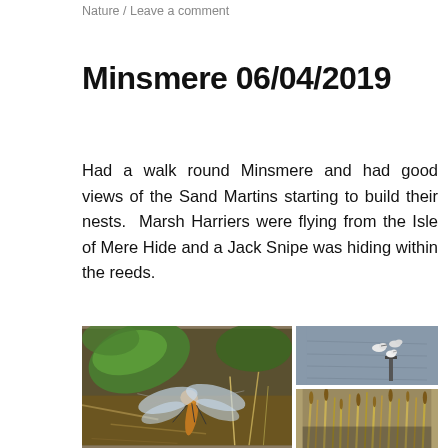Nature / Leave a comment
Minsmere 06/04/2019
Had a walk round Minsmere and had good views of the Sand Martins starting to build their nests.  Marsh Harriers were flying from the Isle of Mere Hide and a Jack Snipe was hiding within the reeds.
[Figure (photo): Close-up photograph of a dragonfly resting on ground among dry vegetation]
[Figure (photo): Birds (gulls/waders) on water with a post or marker visible]
[Figure (photo): Reed bed photograph showing dried reeds/grasses]